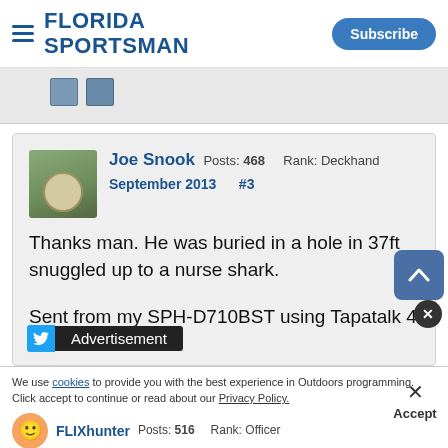FLORIDA SPORTSMAN
Joe Snook Posts: 468 Rank: Deckhand September 2013 #3
Thanks man. He was buried in a hole in 37ft snuggled up to a nurse shark.

Sent from my SPH-D710BST using Tapatalk 4
Advertisement
We use cookies to provide you with the best experience in Outdoors programming. Click accept to continue or read about our Privacy Policy.
FLIXhunter Posts: 516 Rank: Officer